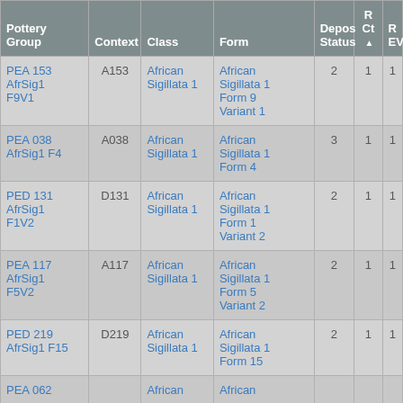| Pottery Group | Context | Class | Form | Depos Status | R Ct ▲ | R EV |
| --- | --- | --- | --- | --- | --- | --- |
| PEA 153 AfrSig1 F9V1 | A153 | African Sigillata 1 | African Sigillata 1 Form 9 Variant 1 | 2 | 1 | 1 |
| PEA 038 AfrSig1 F4 | A038 | African Sigillata 1 | African Sigillata 1 Form 4 | 3 | 1 | 1 |
| PED 131 AfrSig1 F1V2 | D131 | African Sigillata 1 | African Sigillata 1 Form 1 Variant 2 | 2 | 1 | 1 |
| PEA 117 AfrSig1 F5V2 | A117 | African Sigillata 1 | African Sigillata 1 Form 5 Variant 2 | 2 | 1 | 1 |
| PED 219 AfrSig1 F15 | D219 | African Sigillata 1 | African Sigillata 1 Form 15 | 2 | 1 | 1 |
| PEA 062 |  | African | African |  |  |  |